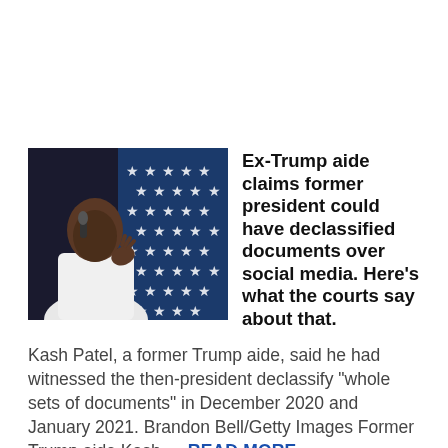[Figure (photo): Photo of Kash Patel speaking at a microphone in front of an American flag backdrop with stars]
Ex-Trump aide claims former president could have declassified documents over social media. Here's what the courts say about that.
Kash Patel, a former Trump aide, said he had witnessed the then-president declassify "whole sets of documents" in December 2020 and January 2021. Brandon Bell/Getty Images Former Trump aide Kash … READ MORE »